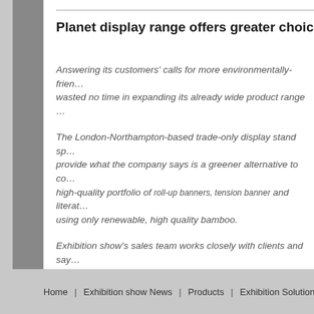Planet display range offers greater choice for gre…
Answering its customers' calls for more environmentally-frien… wasted no time in expanding its already wide product range …
The London-Northampton-based trade-only display stand sp… provide what the company says is a greener alternative to co… high-quality portfolio of roll-up banners, tension banner and literat… using only renewable, high quality bamboo.
Exhibition show's sales team works closely with clients and say… consumer growing ever-louder in recent months.
'There's definitely been an increase in the number of people … ethical options when making their display stand choices,' the… enormous satisfaction from being given the opportunity to ch… own ethical values.'
Home | Exhibition show News | Products | Exhibition Solutions | iPad s…